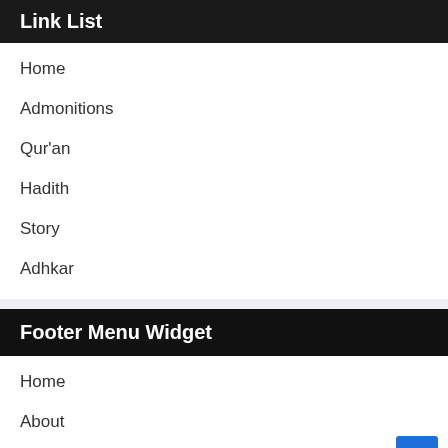Link List
Home
Admonitions
Qur'an
Hadith
Story
Adhkar
Footer Menu Widget
Home
About
Contact Us